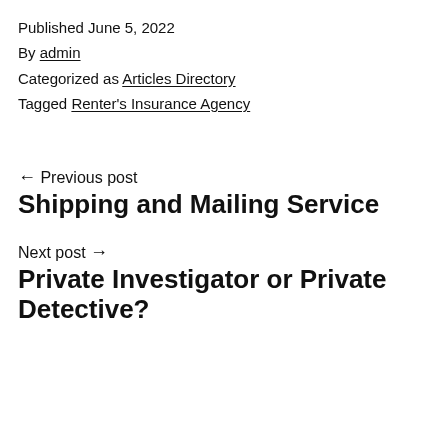Published June 5, 2022
By admin
Categorized as Articles Directory
Tagged Renter's Insurance Agency
← Previous post
Shipping and Mailing Service
Next post →
Private Investigator or Private Detective?